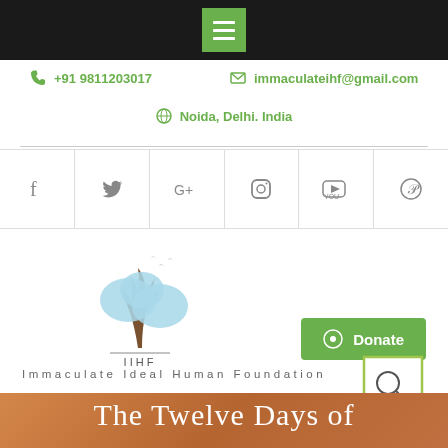[Figure (screenshot): Black top navigation bar with green hamburger menu icon centered]
+91 9811203017
immaculateihf@gmail.com
Noida, Delhi. India
[Figure (infographic): Social media icons row: Facebook, Twitter, Google+, Instagram, YouTube, Pinterest]
[Figure (logo): IIHF logo: stylized tree with blue cloud-like foliage and birds, text 'IIHF' below]
Donate
Immaculate Ideal Human Foundation
[Figure (infographic): Search icon widget and up-arrow button in green/white squares]
The Twelve Days of